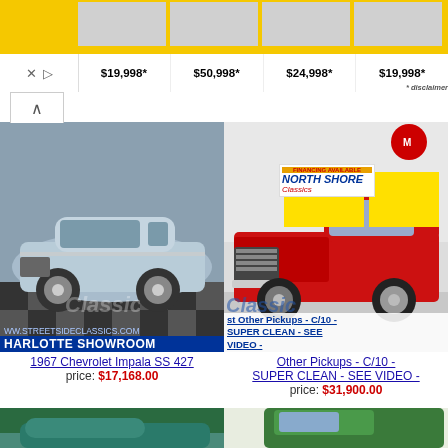[Figure (screenshot): Yellow banner advertisement showing car prices: $19,998*, $50,998*, $24,998*, $19,998* with disclaimer]
[Figure (photo): 1967 Chevrolet Impala SS 427, light blue classic car in showroom]
1967 Chevrolet Impala SS 427
price: $17,168.00
[Figure (photo): Classic red C/10 pickup truck at North Shore Classics dealership - SUPER CLEAN - SEE VIDEO]
Other Pickups - C/10 - SUPER CLEAN - SEE VIDEO -
price: $31,900.00
[Figure (photo): Green classic Corvette convertible outdoors]
[Figure (photo): Green Willys Jeep truck classic vehicle]